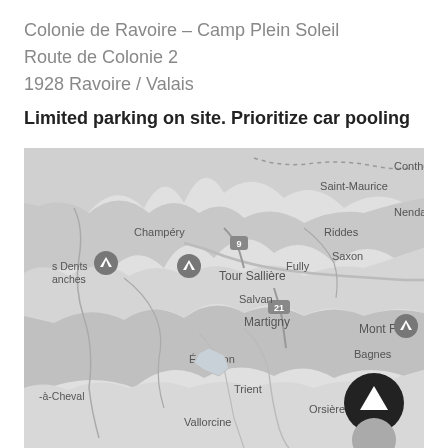Colonie de Ravoire – Camp Plein Soleil
Route de Colonie 2
1928 Ravoire / Valais
Limited parking on site. Prioritize car pooling
[Figure (map): Grayscale map showing the Valais region of Switzerland, with place names including Saint-Maurice, Champéry, Dents Blanches, Tour Sallière, Fully, Saxon, Riddes, Nendaz, Conthey, Salvan, Martigny, Émosson, Trient, Vallorcine, Orsières, Bagnes, Mont Fort, and route markers 9 and 21. Two mountain peak markers are visible. A navigation arrow button (pointing up) appears in the lower right corner.]